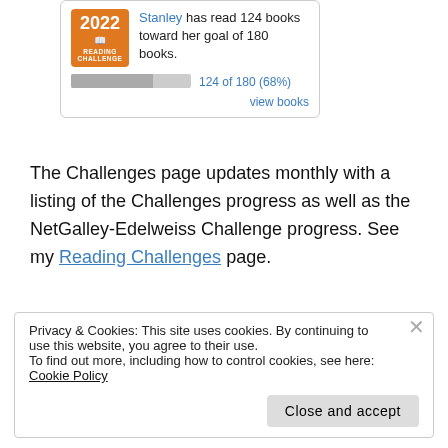[Figure (other): 2022 Reading Challenge badge and progress widget showing Stanley has read 124 books toward her goal of 180 books, with a progress bar showing 124 of 180 (68%) and a 'view books' link.]
The Challenges page updates monthly with a listing of the Challenges progress as well as the NetGalley-Edelweiss Challenge progress. See my Reading Challenges page.
Privacy & Cookies: This site uses cookies. By continuing to use this website, you agree to their use. To find out more, including how to control cookies, see here: Cookie Policy